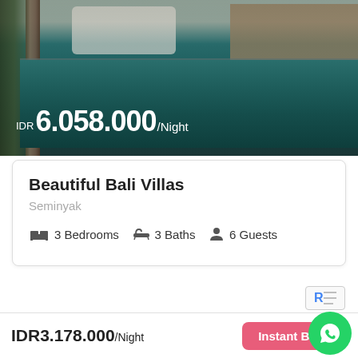[Figure (photo): Aerial/pool-level view of a Bali villa with a dark teal swimming pool, open bathroom with freestanding bathtub, wooden pillars, tropical tree on left, and kitchen visible on right. Price overlay shows IDR 6.058.000/Night in white text.]
Beautiful Bali Villas
Seminyak
3 Bedrooms   3 Baths   6 Guests
IDR3.178.000/Night
Instant Book